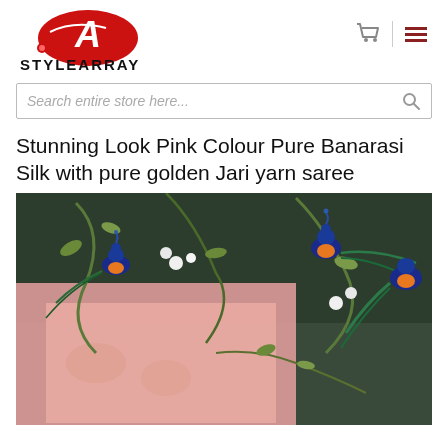[Figure (logo): StyleArray logo — red oval with white stylized letter A inside, red rose at bottom left, text STYLEARRAY in bold black below]
Search entire store here...
Stunning Look Pink Colour Pure Banarasi Silk with pure golden Jari yarn saree
[Figure (photo): Close-up photo of a pink Banarasi silk saree with golden zari weave, decorated with decorative peacock figurines (blue with orange and green feathers) and white berries with green foliage against a dark background.]